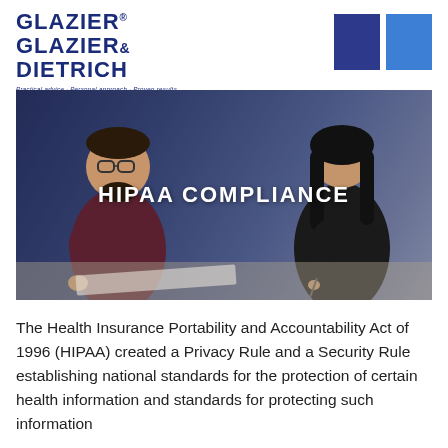GLAZIER, GLAZIER & DIETRICH
Practical advice · Personal approach · Proven results
[Figure (photo): Two people (a man with glasses and beard and a woman in black) sitting at a desk reviewing documents, with overlay text 'HIPAA COMPLIANCE']
The Health Insurance Portability and Accountability Act of 1996 (HIPAA) created a Privacy Rule and a Security Rule establishing national standards for the protection of certain health information and standards for protecting such information